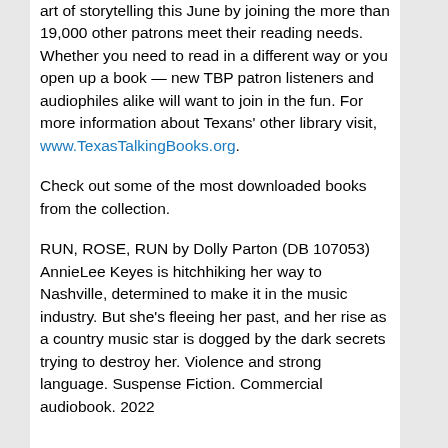art of storytelling this June by joining the more than 19,000 other patrons meet their reading needs. Whether you need to read in a different way or you open up a book — new TBP patron listeners and audiophiles alike will want to join in the fun. For more information about Texans' other library visit, www.TexasTalkingBooks.org.
Check out some of the most downloaded books from the collection.
RUN, ROSE, RUN by Dolly Parton (DB 107053) AnnieLee Keyes is hitchhiking her way to Nashville, determined to make it in the music industry. But she's fleeing her past, and her rise as a country music star is dogged by the dark secrets trying to destroy her. Violence and strong language. Suspense Fiction. Commercial audiobook. 2022